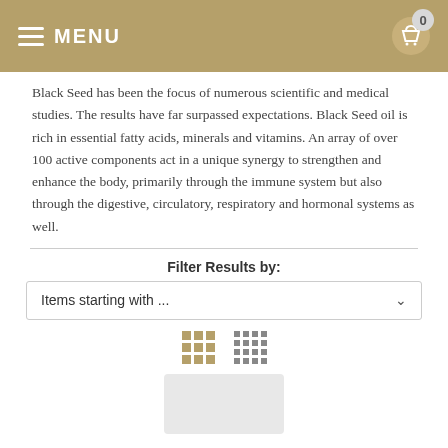MENU
Black Seed has been the focus of numerous scientific and medical studies. The results have far surpassed expectations. Black Seed oil is rich in essential fatty acids, minerals and vitamins. An array of over 100 active components act in a unique synergy to strengthen and enhance the body, primarily through the immune system but also through the digestive, circulatory, respiratory and hormonal systems as well.
Filter Results by:
Items starting with ...
[Figure (screenshot): Grid view toggle icons — a 3x3 gold grid and a 4-column list grid icon]
[Figure (photo): Partial product image placeholder at bottom of page]